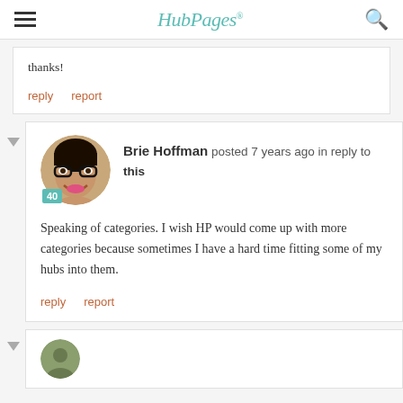HubPages
thanks!
reply   report
Brie Hoffman posted 7 years ago in reply to this
Speaking of categories.  I wish HP would come up with more categories because sometimes I have a hard time fitting some of my hubs into them.
reply   report